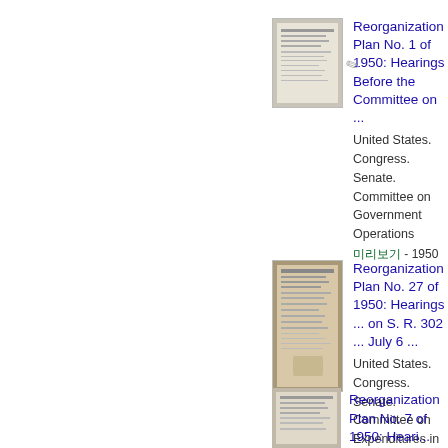[Figure (photo): Thumbnail image of document cover for Reorganization Plan No. 1 of 1950]
Reorganization Plan No. 1 of 1950: Hearings Before the Committee on ...
United States. Congress. Senate. Committee on Government Operations
미리보기 - 1950
[Figure (photo): Thumbnail image of document cover for Reorganization Plan No. 27 of 1950]
Reorganization Plan No. 27 of 1950: Hearings ... on S. R. 302 ... July 6 ...
United States. Congress. Senate. Committee on Expenditures in the Executive Departments
미리보기 - 1950
[Figure (photo): Thumbnail image of document cover for Reorganization Plan No. 7 of 1950]
Reorganization Plan No. 7 of 1950: Heari...